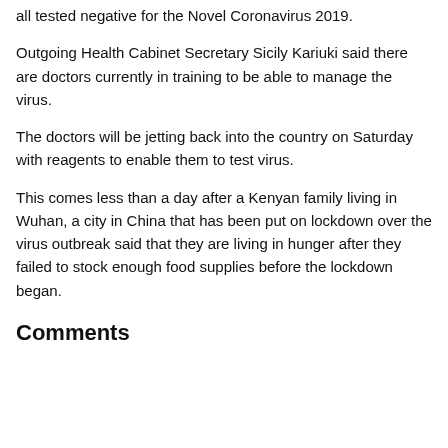all tested negative for the Novel Coronavirus 2019.
Outgoing Health Cabinet Secretary Sicily Kariuki said there are doctors currently in training to be able to manage the virus.
The doctors will be jetting back into the country on Saturday with reagents to enable them to test virus.
This comes less than a day after a Kenyan family living in Wuhan, a city in China that has been put on lockdown over the virus outbreak said that they are living in hunger after they failed to stock enough food supplies before the lockdown began.
Comments